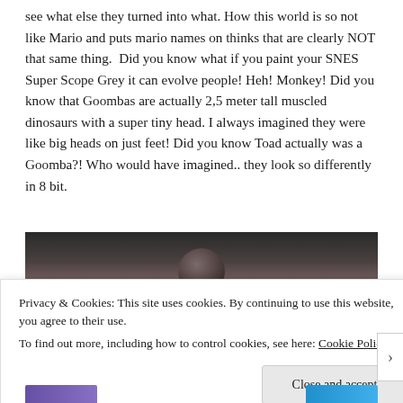see what else they turned into what. How this world is so not like Mario and puts mario names on thinks that are clearly NOT that same thing.  Did you know what if you paint your SNES Super Scope Grey it can evolve people! Heh! Monkey! Did you know that Goombas are actually 2,5 meter tall muscled dinosaurs with a super tiny head. I always imagined they were like big heads on just feet! Did you know Toad actually was a Goomba?! Who would have imagined.. they look so differently in 8 bit.
[Figure (photo): Dark photograph showing a figure or object against a dark background, partially visible]
Privacy & Cookies: This site uses cookies. By continuing to use this website, you agree to their use.
To find out more, including how to control cookies, see here: Cookie Policy
Close and accept